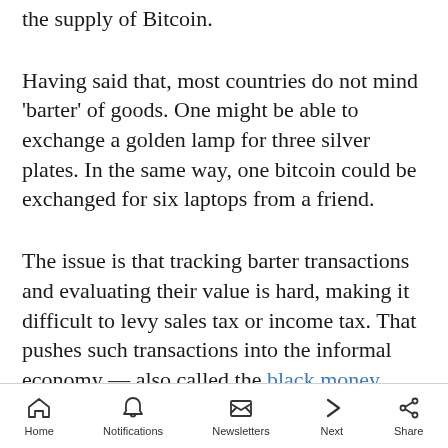the supply of Bitcoin.
Having said that, most countries do not mind 'barter' of goods. One might be able to exchange a golden lamp for three silver plates. In the same way, one bitcoin could be exchanged for six laptops from a friend.
The issue is that tracking barter transactions and evaluating their value is hard, making it difficult to levy sales tax or income tax. That pushes such transactions into the informal economy — also called the black money market in India.
Home  Notifications  Newsletters  Next  Share